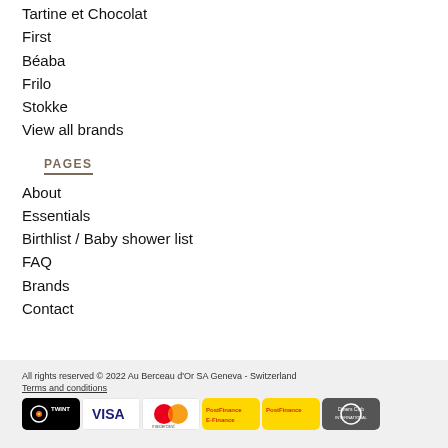Tartine et Chocolat
First
Béaba
Frilo
Stokke
View all brands
PAGES
About
Essentials
Birthlist / Baby shower list
FAQ
Brands
Contact
All rights reserved © 2022 Au Berceau d'Or SA Geneva - Switzerland
Terms and conditions
[Figure (other): Payment method logos: TWINT, VISA, Mastercard, PostFinance E-Finance, PostFinance Card, Diners Club International]